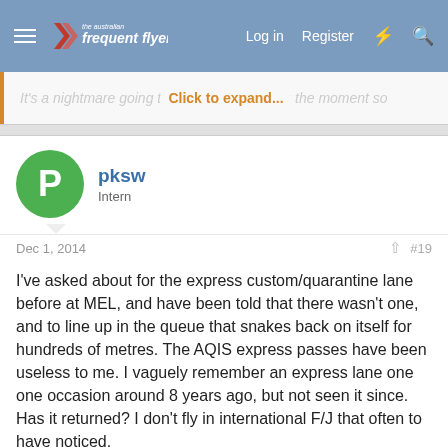The Australian Frequent Flyer — Log in | Register
It's a nightmare going through... Brisbane at the moment so
Click to expand...
pksw
Intern
Dec 1, 2014  #19
I've asked about for the express custom/quarantine lane before at MEL, and have been told that there wasn't one, and to line up in the queue that snakes back on itself for hundreds of metres. The AQIS express passes have been useless to me. I vaguely remember an express lane one one occasion around 8 years ago, but not seen it since. Has it returned? I don't fly in international F/J that often to have noticed.
pagingjoan
Established Member   AFF Subscriber